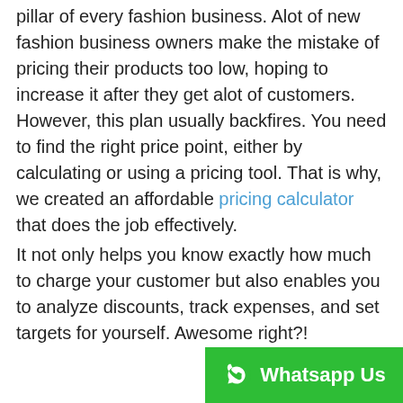pillar of every fashion business. Alot of new fashion business owners make the mistake of pricing their products too low, hoping to increase it after they get alot of customers. However, this plan usually backfires. You need to find the right price point, either by calculating or using a pricing tool. That is why, we created an affordable pricing calculator that does the job effectively.

It not only helps you know exactly how much to charge your customer but also enables you to analyze discounts, track expenses, and set targets for yourself. Awesome right?!
[Figure (other): Green WhatsApp Us button with WhatsApp logo icon in bottom right corner]